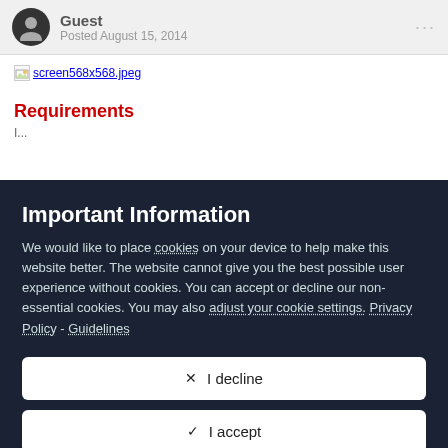Guest — Posted August 15, 2014
[Figure (screenshot): Broken image placeholder with link text 'screen568x568.jpeg']
Requirements
Important Information
We would like to place cookies on your device to help make this website better. The website cannot give you the best possible user experience without cookies. You can accept or decline our non-essential cookies. You may also adjust your cookie settings. Privacy Policy - Guidelines
✕  I decline
✓  I accept